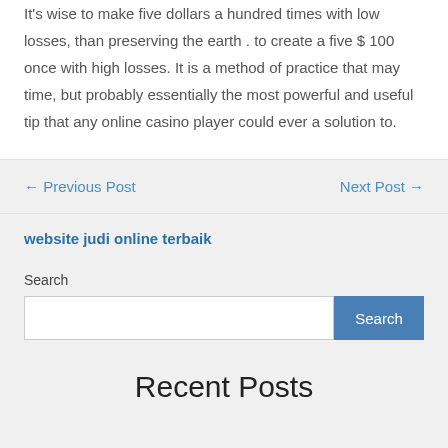It's wise to make five dollars a hundred times with low losses, than preserving the earth . to create a five $ 100 once with high losses. It is a method of practice that may time, but probably essentially the most powerful and useful tip that any online casino player could ever a solution to.
← Previous Post
Next Post →
website judi online terbaik
Search
Recent Posts